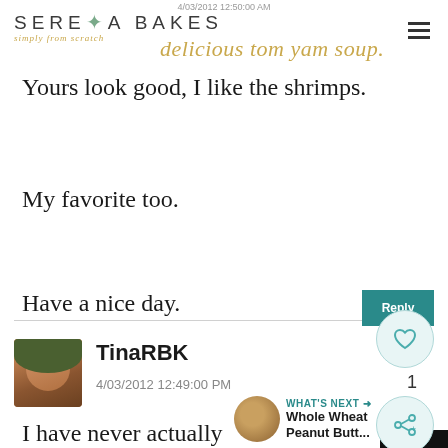4/03/2012 12:50:00 AM
[Figure (logo): Serena Bakes simply from scratch logo with leaf decoration]
delicious tom yam soup.
Yours look good, I like the shrimps. My favorite too.
Have a nice day.
[Figure (photo): Avatar photo of TinaRBK commenter]
TinaRBK
4/03/2012 12:49:00 PM
I have never actually made this soup, but I have tried it before and it is